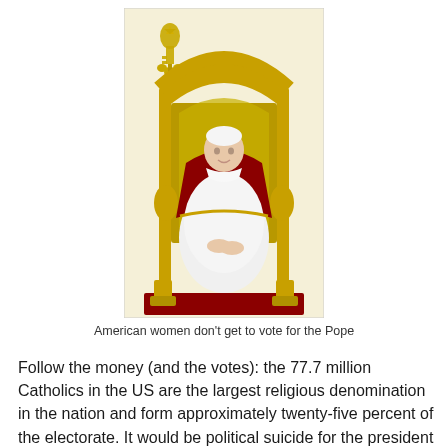[Figure (photo): Photo of Pope Benedict XVI seated on a golden throne/chair, wearing white papal vestments and red papal mozzetta. A gold papal coat of arms is visible to the upper left. The background is cream/light yellow.]
American women don't get to vote for the Pope
Follow the money (and the votes): the 77.7 million Catholics in the US are the largest religious denomination in the nation and form approximately twenty-five percent of the electorate. It would be political suicide for the president to openly